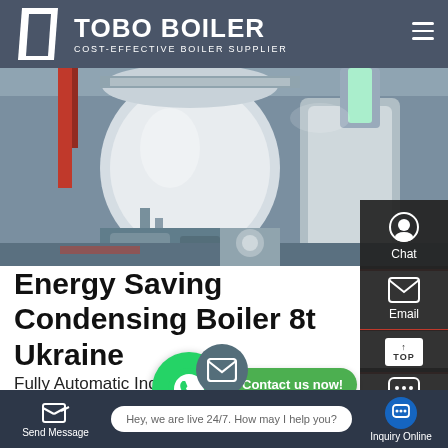TOBO BOILER — COST-EFFECTIVE BOILER SUPPLIER
[Figure (photo): Industrial boiler room showing large white cylindrical boilers with insulated pipes and ductwork in a factory setting]
Energy Saving Condensing Boiler 8t Ukraine
Fully Automatic Industrial 8t Biomass Boiler Machine Ukraine. manufacturer energy saving singapore. With the current energy saving 8t fully automatic boiler singapore
Send Message | Hey, we are live 24/7. How may I help you? | Inquiry Online